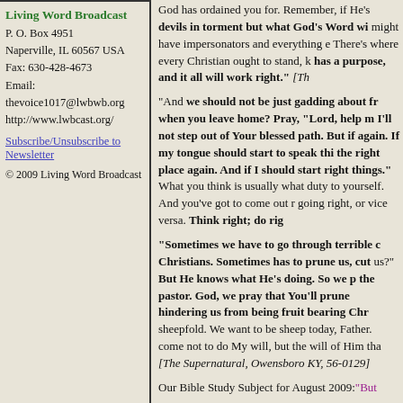Living Word Broadcast
P. O. Box 4951
Naperville, IL 60567 USA
Fax: 630-428-4673
Email: thevoice1017@lwbwb.org
http://www.lwbcast.org/
Subscribe/Unsubscribe to Newsletter
© 2009 Living Word Broadcast
God has ordained you for. Remember, if He's — devils in torment but what God's Word wi— might have impersonators and everything e— There's where every Christian ought to stand, k— has a purpose, and it all will work right. [Th—
"And we should not be just gadding about fr— when you leave home? Pray, "Lord, help m— I'll not step out of Your blessed path. But if— again. If my tongue should start to speak thi— the right place again. And if I should start — right things." What you think is usually what— duty to yourself. And you've got to come out r— going right, or vice versa. Think right; do rig—
"Sometimes we have to go through terrible c— Christians. Sometimes has to prune us, cut — us?" But He knows what He's doing. So we p— the pastor. God, we pray that You'll prune— hindering us from being fruit bearing Chr— sheepfold. We want to be sheep today, Father.— come not to do My will, but the will of Him tha— [The Supernatural, Owensboro KY, 56-0129]
Our Bible Study Subject for August 2009: "But—
We pray the God will grant you grace to know t—
Let us continue to remember one another, as we—
Bro. Robert Wilson